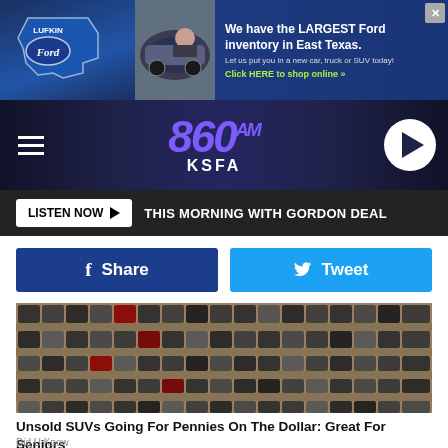[Figure (screenshot): Lufkin Ford advertisement banner: 'We have the LARGEST Ford inventory in East Texas. Let us put you in a new car, truck or SUV today! Click HERE to shop online']
[Figure (logo): 860 AM KSFA radio station header with hamburger menu and play button]
LISTEN NOW ▶  THIS MORNING WITH GORDON DEAL
[Figure (other): Facebook Share button (blue) and Twitter Tweet button (cyan)]
[Figure (photo): Aerial photo of a large parking lot filled with rows of unsold SUVs and cars]
Unsold SUVs Going For Pennies On The Dollar: Great For Seniors
Did U Know